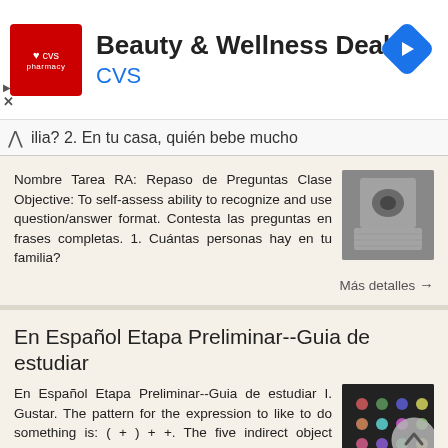[Figure (logo): CVS Pharmacy advertisement banner with logo, 'Beauty & Wellness Deals' heading, and navigation arrow icon]
ilia? 2. En tu casa, quién bebe mucho
Nombre Tarea RA: Repaso de Preguntas Clase Objective: To self-assess ability to recognize and use question/answer format. Contesta las preguntas en frases completas. 1. Cuántas personas hay en tu familia?
Más detalles →
En Español Etapa Preliminar--Guia de estudiar
En Español Etapa Preliminar--Guia de estudiar I. Gustar. The pattern for the expression to like to do something is: ( + ) + +. The five indirect object pronouns (IOP)